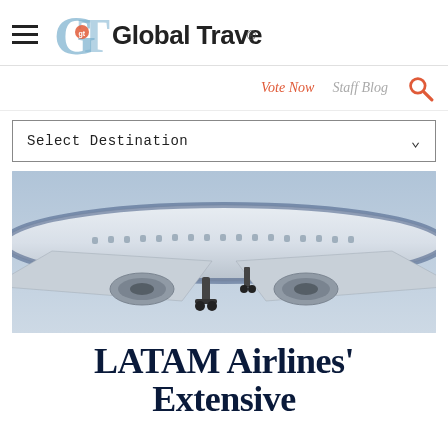Global Traveler
Vote Now   Staff Blog
Select Destination
[Figure (photo): Underside view of a large commercial airplane (LATAM livery) in flight against a grey sky, landing gear deployed]
LATAM Airlines' Extensive